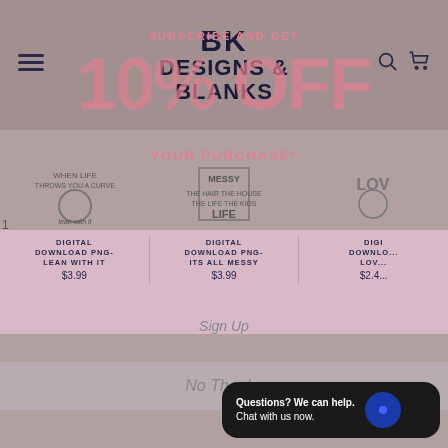BK DESIGNS & BLANKS
SUBSCRIBE AND GET
10% OFF
YOUR PURCHASE*
to receive recurring automated marketing text messages (e.g. cart reminders) at the phone number provided. Consent is not a condition to purchase. Msg & data rates may apply. Msg frequency varies. Reply HELP for help and STOP to cancel. View our Terms of Service and Privacy Policy.
DIGITAL DOWNLOAD PNG- LEAN WITH IT
$3.99
DIGITAL DOWNLOAD PNG- ITS ALL MESSY
$3.99
DIGI DOWNLO... LOV...
$2.4...
Sign Up
No Thanks
Questions? We can help.
Chat with us now.